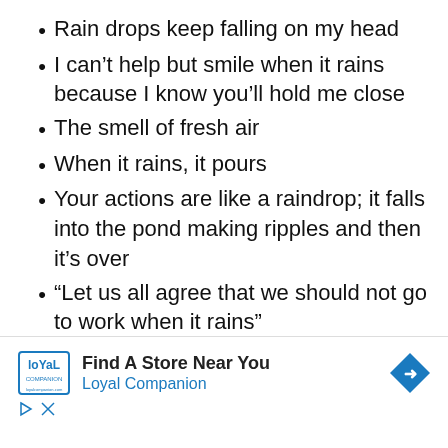Rain drops keep falling on my head
I can’t help but smile when it rains because I know you’ll hold me close
The smell of fresh air
When it rains, it pours
Your actions are like a raindrop; it falls into the pond making ripples and then it’s over
“Let us all agree that we should not go to work when it rains”
Let it be gray today. So tomorrow the
[Figure (other): Advertisement banner for Loyal Companion pet store with logo, Find A Store Near You text, navigation arrow icon, and ad controls (play and close buttons)]